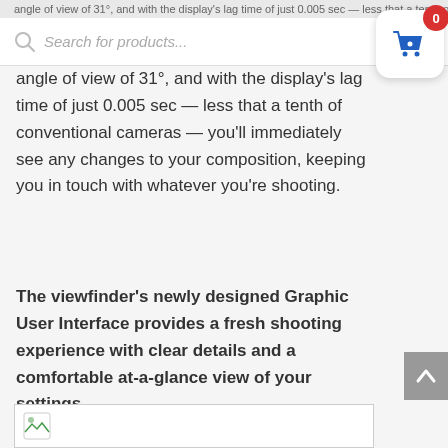Search for products...
angle of view of 31°, and with the display's lag time of just 0.005 sec — less that a tenth of conventional cameras — you'll immediately see any changes to your composition, keeping you in touch with whatever you're shooting.
The viewfinder's newly designed Graphic User Interface provides a fresh shooting experience with clear details and a comfortable at-a-glance view of your settings.
[Figure (screenshot): Partially visible image placeholder at the bottom of the page]